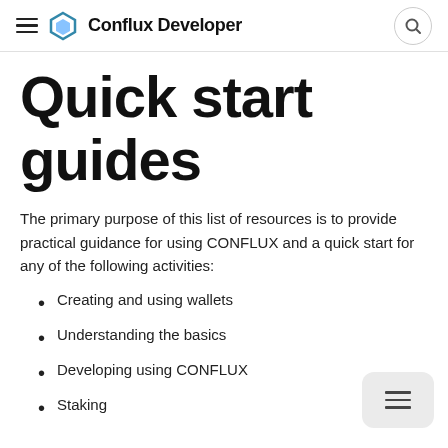Conflux Developer
Quick start guides
The primary purpose of this list of resources is to provide practical guidance for using CONFLUX and a quick start for any of the following activities:
Creating and using wallets
Understanding the basics
Developing using CONFLUX
Staking